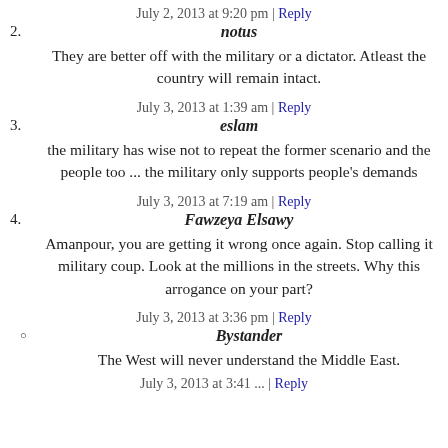July 2, 2013 at 9:20 pm | Reply
2. notus
They are better off with the military or a dictator. Atleast the country will remain intact.
July 3, 2013 at 1:39 am | Reply
3. eslam
the military has wise not to repeat the former scenario and the people too ... the military only supports people's demands
July 3, 2013 at 7:19 am | Reply
4. Fawzeya Elsawy
Amanpour, you are getting it wrong once again. Stop calling it military coup. Look at the millions in the streets. Why this arrogance on your part?
July 3, 2013 at 3:36 pm | Reply
○ Bystander
The West will never understand the Middle East.
July 3, 2013 at 3:41 ... | Reply